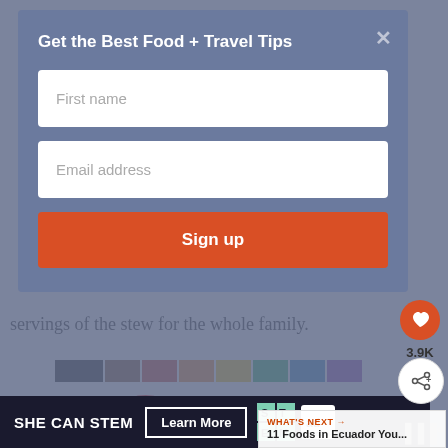Get the Best Food + Travel Tips
First name
Email address
Sign up
servings of the stew for the whole family.
[Figure (screenshot): Ad banner with rainbow color bars and X close button]
[Figure (photo): Large bold red text reading LOVE with partial image overlay]
CHANGES
WHAT'S NEXT → 11 Foods in Ecuador You...
[Figure (screenshot): SHE CAN STEM advertisement banner with Learn More button, STEM logo, and Ad Council logo]